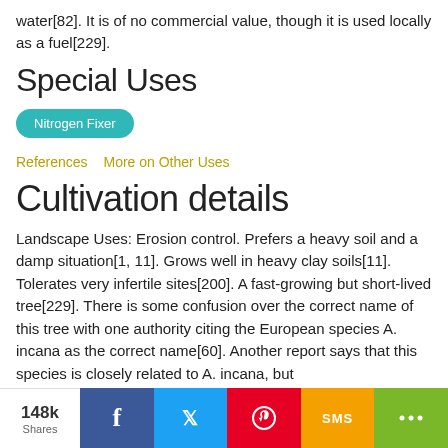water[82]. It is of no commercial value, though it is used locally as a fuel[229].
Special Uses
Nitrogen Fixer
References   More on Other Uses
Cultivation details
Landscape Uses: Erosion control. Prefers a heavy soil and a damp situation[1, 11]. Grows well in heavy clay soils[11]. Tolerates very infertile sites[200]. A fast-growing but short-lived tree[229]. There is some confusion over the correct name of this tree with one authority citing the European species A. incana as the correct name[60]. Another report says that this species is closely related to A. incana, but
148k Shares